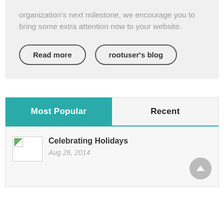organization's next milestone, we encourage you to bring some extra attention now to your website.
Read more
rootuser's blog
Most Popular
Recent
[Figure (other): Broken image placeholder thumbnail]
Celebrating Holidays
Aug 26, 2014